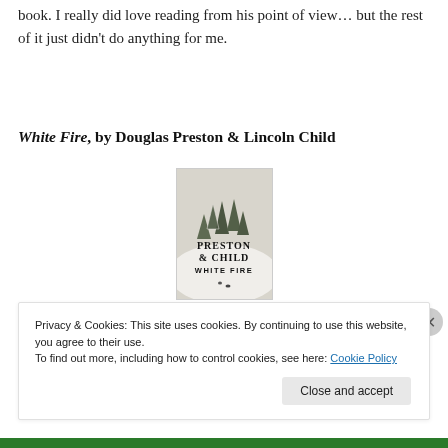book. I really did love reading from his point of view… but the rest of it just didn't do anything for me.
White Fire, by Douglas Preston & Lincoln Child
[Figure (illustration): Book cover of 'White Fire' by Preston & Child showing a snowy winter landscape with pine trees and 'WHITE FIRE' text]
Privacy & Cookies: This site uses cookies. By continuing to use this website, you agree to their use.
To find out more, including how to control cookies, see here: Cookie Policy
Close and accept